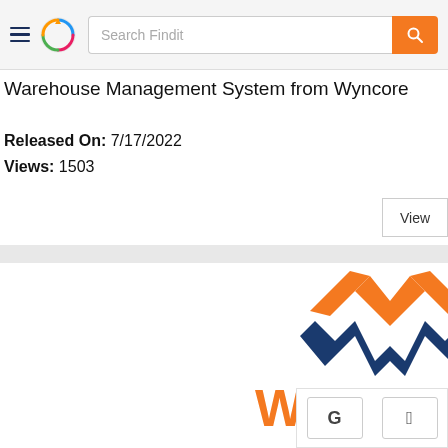Search Findit
Warehouse Management System from Wyncore
Released On: 7/17/2022
Views: 1503
[Figure (logo): Wyncore logo with orange chevron/arrow above a dark blue W shape, and the text WYNCOR in orange and blue lettering]